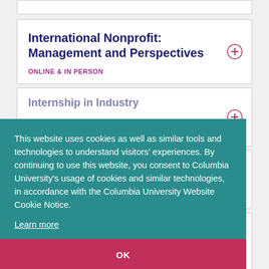International Nonprofit: Management and Perspectives
ONLINE & IN PERSON
Internship in Industry
...driving...
Legal Landscape of Nonprofit Law: Essentials for Non-lawyers
This website uses cookies as well as similar tools and technologies to understand visitors' experiences. By continuing to use this website, you consent to Columbia University's usage of cookies and similar technologies, in accordance with the Columbia University Website Cookie Notice. Learn more OK